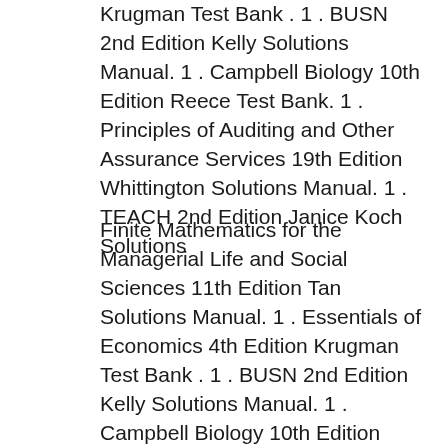Krugman Test Bank . 1 . BUSN 2nd Edition Kelly Solutions Manual. 1 . Campbell Biology 10th Edition Reece Test Bank. 1 . Principles of Auditing and Other Assurance Services 19th Edition Whittington Solutions Manual. 1 . TEACH 2nd Edition Janice Koch Solutions
Finite Mathematics for the Managerial Life and Social Sciences 11th Edition Tan Solutions Manual. 1 . Essentials of Economics 4th Edition Krugman Test Bank . 1 . BUSN 2nd Edition Kelly Solutions Manual. 1 . Campbell Biology 10th Edition Reece Test Bank. 1 . Principles of Auditing and Other Assurance Services 19th Edition Whittington Solutions Manual. 1 . TEACH